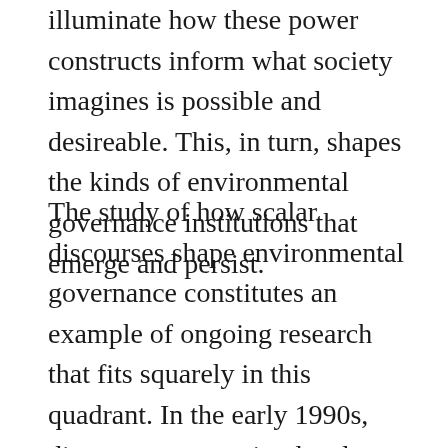illuminate how these power constructs inform what society imagines is possible and desireable. This, in turn, shapes the kinds of environmental governance institutions that emerge and persist.
The study of how scalar discourses shape environmental governance constitutes an example of ongoing research that fits squarely in this quadrant. In the early 1990s, discourses promoting local-level governance of common-pool resources played a role in the promotion of community-based management and a justification for decentralization in natural resource governance. In some cases, the naively optimistic and contextually underspecified nature of these discourses enabled inappropriate or ineffective institutions (Agrawal and Gibson 1999; Lawhon and Patel 2013).